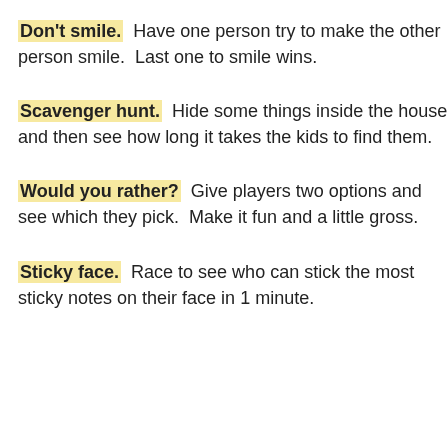Don't smile.  Have one person try to make the other person smile.  Last one to smile wins.
Scavenger hunt.  Hide some things inside the house and then see how long it takes the kids to find them.
Would you rather?  Give players two options and see which they pick.  Make it fun and a little gross.
Sticky face.  Race to see who can stick the most sticky notes on their face in 1 minute.